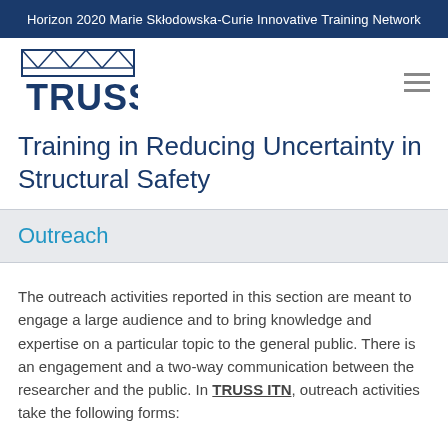Horizon 2020 Marie Skłodowska-Curie Innovative Training Network
[Figure (logo): TRUSS logo with bridge truss graphic above the text TRUSS in navy blue]
Training in Reducing Uncertainty in Structural Safety
Outreach
The outreach activities reported in this section are meant to engage a large audience and to bring knowledge and expertise on a particular topic to the general public. There is an engagement and a two-way communication between the researcher and the public. In TRUSS ITN, outreach activities take the following forms: